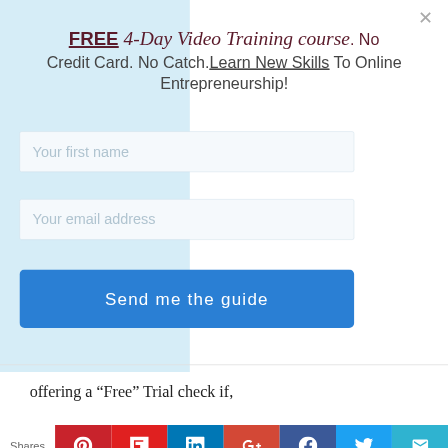FREE 4-Day Video Training course. No Credit Card. No Catch. Learn New Skills To Online Entrepreneurship!
Your first name
Your email address
Send me the guide
offering a “Free” Trial check if,